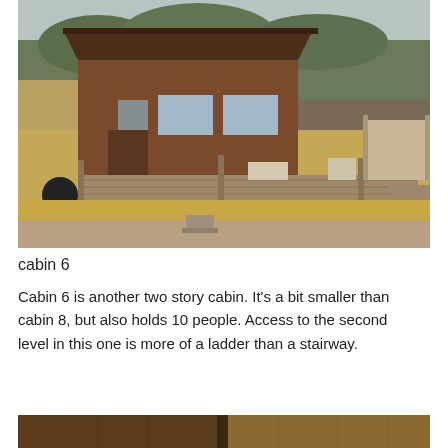[Figure (photo): Exterior photo of Cabin 6, a two-story rustic wooden cabin with a large deck, outdoor furniture, BBQ grill on the left, surrounded by dry grassy hillside and overcast sky.]
cabin 6
Cabin 6 is another two story cabin. It's a bit smaller than cabin 8, but also holds 10 people. Access to the second level in this one is more of a ladder than a stairway.
[Figure (photo): Partial view of cabin interior, showing wooden elements, cropped at bottom of page.]